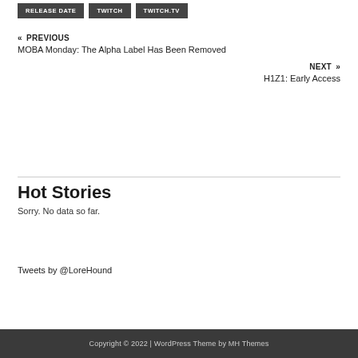RELEASE DATE
TWITCH
TWITCH.TV
« PREVIOUS
MOBA Monday: The Alpha Label Has Been Removed
NEXT »
H1Z1: Early Access
Hot Stories
Sorry. No data so far.
Tweets by @LoreHound
Copyright © 2022 | WordPress Theme by MH Themes